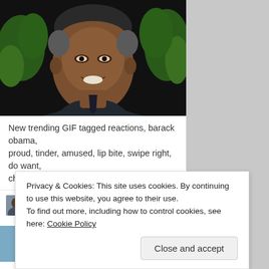[Figure (photo): Photo of Barack Obama smiling, wearing a dark suit and light blue shirt, with green fern plants visible in the background on a dark background.]
New trending GIF tagged reactions, barack obama, proud, tinder, amused, lip bite, swipe right, do want, chuffed via http://ift.tt/1VKCVAy
digitalndesign
6:51 am on April 23, 2016
[Figure (photo): Partial preview image strip showing top of a person's head with dark hair against a blue background.]
Privacy & Cookies: This site uses cookies. By continuing to use this website, you agree to their use.
To find out more, including how to control cookies, see here: Cookie Policy
Close and accept